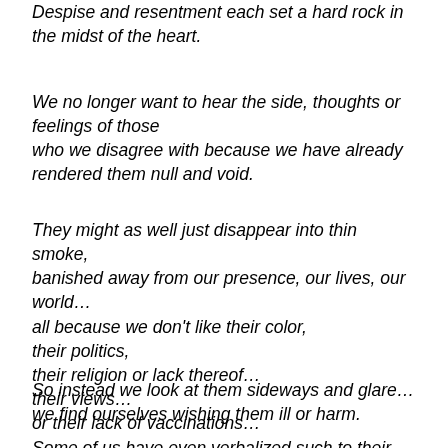Despise and resentment each set a hard rock in the midst of the heart.
We no longer want to hear the side, thoughts or feelings of those who we disagree with because we have already rendered them null and void.
They might as well just disappear into thin smoke, banished away from our presence, our lives, our world… all because we don't like their color, their politics, their religion or lack thereof… their views… or their lack of vaccinations…
So instead we look at them sideways and glare… we find ourselves wishing them ill or harm.
Some of us have even verbalized such to their faces…